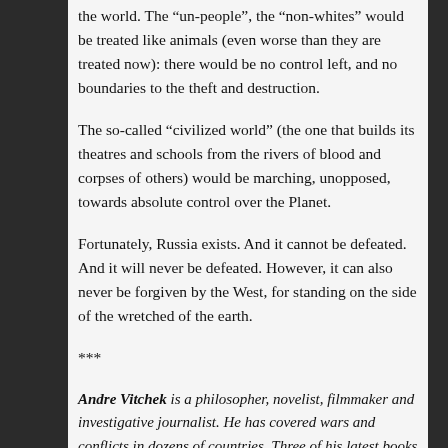the world. The “un-people”, the “non-whites” would be treated like animals (even worse than they are treated now): there would be no control left, and no boundaries to the theft and destruction.
The so-called “civilized world” (the one that builds its theatres and schools from the rivers of blood and corpses of others) would be marching, unopposed, towards absolute control over the Planet.
Fortunately, Russia exists. And it cannot be defeated. And it will never be defeated. However, it can also never be forgiven by the West, for standing on the side of the wretched of the earth.
***
Andre Vitchek is a philosopher, novelist, filmmaker and investigative journalist. He has covered wars and conflicts in dozens of countries. Three of his latest books are revolutionary novel “Aurora” and two bestselling works of political non-fiction: “Exposing Lies Of The Empire” and “Fighting